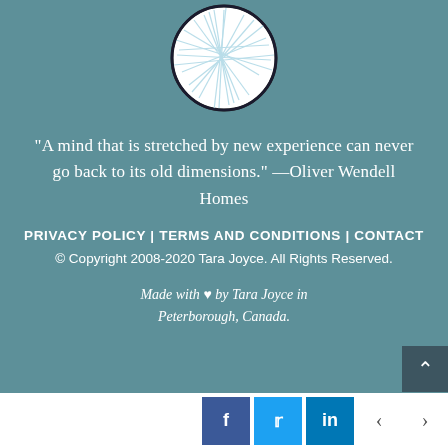[Figure (logo): Circular logo with abstract crossing lines on white background, outlined in dark]
“A mind that is stretched by new experience can never go back to its old dimensions.” —Oliver Wendell Homes
PRIVACY POLICY | TERMS AND CONDITIONS | CONTACT
© Copyright 2008-2020 Tara Joyce. All Rights Reserved.
Made with ♥ by Tara Joyce in Peterborough, Canada.
[Figure (infographic): Footer bar with Facebook, Twitter, LinkedIn social media buttons and left/right navigation arrows]